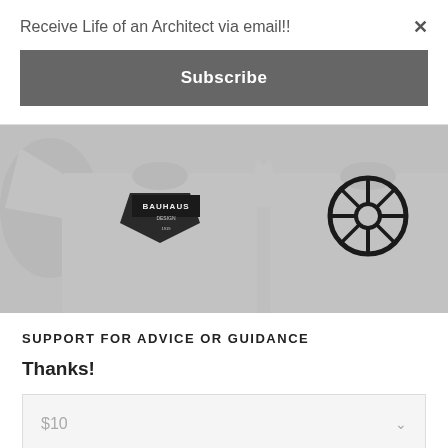Receive Life of an Architect via email!!
×
Subscribe
[Figure (photo): Two gray t-shirts displayed side by side. Left shirt has a badge/shield graphic with text 'BAUHAUS DESIGN'. Right shirt has a circular wheel/crosshair logo graphic. Both shirts are light gray/heather colored.]
SUPPORT FOR ADVICE OR GUIDANCE
Thanks!
$10
Other Amount: